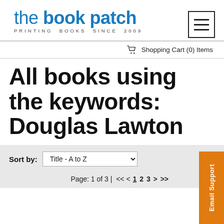the book patch — PRINTING BOOKS SINCE 2009
Shopping Cart (0) Items
All books using the keywords: Douglas Lawton
Sort by: Title - A to Z
Page: 1 of 3 | << < 1 2 3 > >>